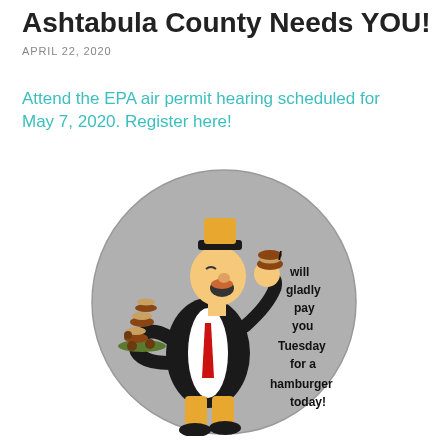Ashtabula County Needs YOU!
APRIL 22, 2020
Attend the EPA air permit hearing scheduled for May 7, 2020. Register here!
[Figure (illustration): Cartoon illustration of Wimpy (J. Wellington Wimpy from Popeye) inside a gray circle, holding a tray of hamburgers and eating a hamburger, with text reading: I will gladly pay you Tuesday for a hamburger today!]